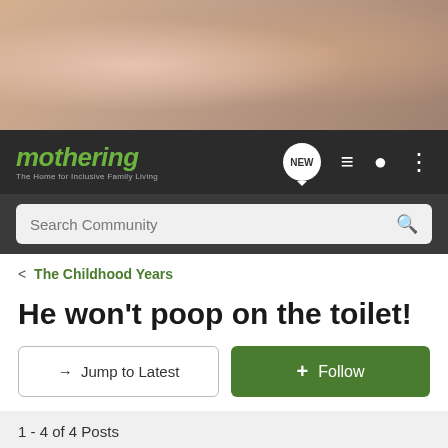[Figure (photo): Banner photo showing a pregnant woman and a baby/child with an adult, warm tones]
mothering — The Home for Inclusive Family Living
Search Community
< The Childhood Years
He won't poop on the toilet!
→ Jump to Latest
+ Follow
1 - 4 of 4 Posts
Lisalee2 · Registered
Joined Dec 12, 2001 · 1,890 Posts